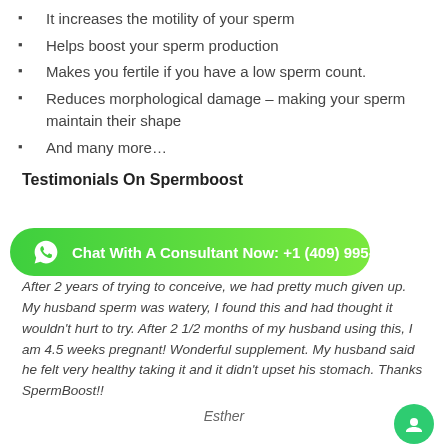It increases the motility of your sperm
Helps boost your sperm production
Makes you fertile if you have a low sperm count.
Reduces morphological damage – making your sperm maintain their shape
And many more…
Testimonials On Spermboost
[Figure (screenshot): Green WhatsApp chat button overlay: Chat With A Consultant Now: +1 (409) 995-2813]
…m level after taking SpermBoost abound.
After 2 years of trying to conceive, we had pretty much given up. My husband sperm was watery, I found this and had thought it wouldn't hurt to try. After 2 1/2 months of my husband using this, I am 4.5 weeks pregnant! Wonderful supplement. My husband said he felt very healthy taking it and it didn't upset his stomach. Thanks SpermBoost!!
Esther